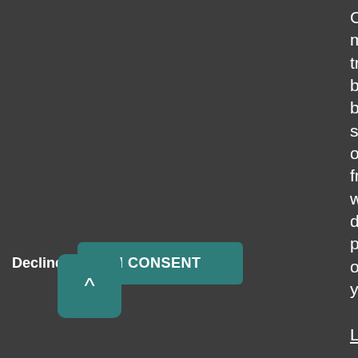Cookies to measure visitor traffic and browsing behavior and share data with, or redirect users from, third-party websites to define personalized offers tailored to your interests.
Learn More
Decline
I CONSENT
CALL US  MENU